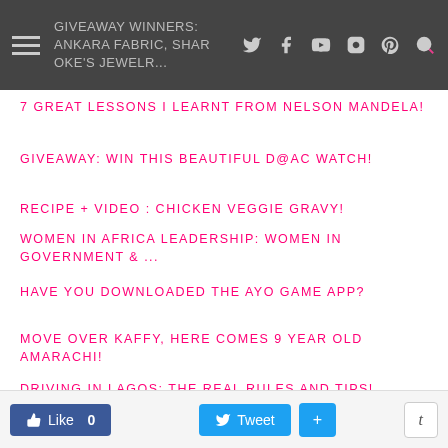GIVEAWAY WINNERS: ANKARA FABRIC, SHAR OKE'S JEWELR...
7 GREAT LESSONS I LEARNT FROM NELSON MANDELA!
GIVEAWAY: WIN THIS BEAUTIFUL D@AC WATCH!
RECIPE + VIDEO : CHICKEN VEGGIE GRAVY!
WOMEN IN AFRICA LEADERSHIP: WOMEN IN GOVERNMENT & ...
HAVE YOU DOWNLOADED THE AYO GAME APP?
MOVE OVER KAFFY, HERE COMES 9 YEAR OLD AMARACHI!
DRIVING IN LAGOS: THE REAL RULES AND TIPS!
Like 0  Tweet  +  t